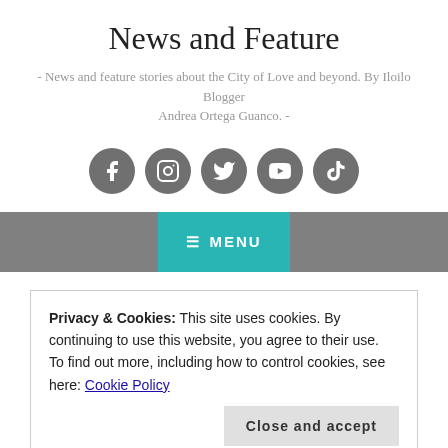News and Feature
- News and feature stories about the City of Love and beyond. By Iloilo Blogger Andrea Ortega Guanco. -
[Figure (illustration): Five circular grey social media icons: Facebook, Instagram, Twitter, YouTube, TikTok]
MENU
Privacy & Cookies: This site uses cookies. By continuing to use this website, you agree to their use.
To find out more, including how to control cookies, see here: Cookie Policy
Close and accept
Cuisine Since 2008